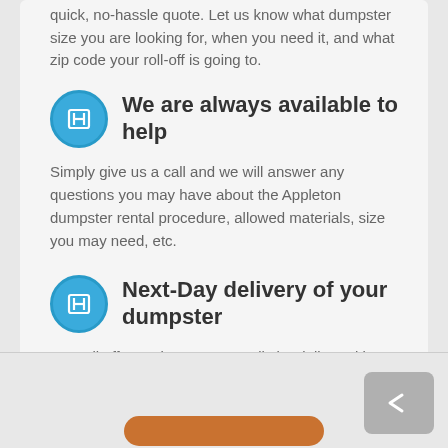quick, no-hassle quote. Let us know what dumpster size you are looking for, when you need it, and what zip code your roll-off is going to.
We are always available to help
Simply give us a call and we will answer any questions you may have about the Appleton dumpster rental procedure, allowed materials, size you may need, etc.
Next-Day delivery of your dumpster
Our roll off containers can usually be delivered in Appleton the day after you place your order. Make sure to call us early to ensure timely delivery.